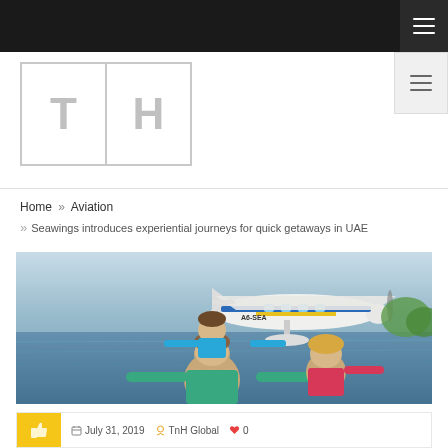Navigation bar with hamburger menu
[Figure (logo): TH logo with two grey block letters T and H in bordered boxes]
Home » Aviation
» Seawings introduces experiential journeys for quick getaways in UAE
[Figure (photo): Seaplane (A6-SEA) on water with a family of three in the foreground - father with two children arms outstretched]
July 31, 2019   TnH Global   0